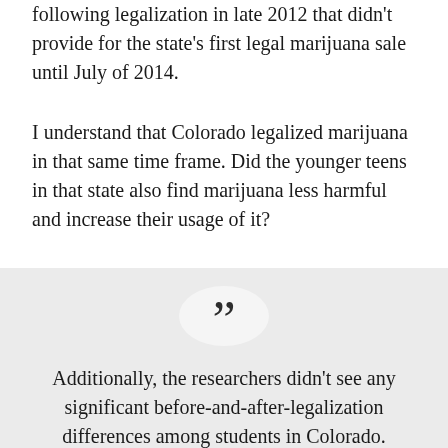following legalization in late 2012 that didn't provide for the state's first legal marijuana sale until July of 2014.
I understand that Colorado legalized marijuana in that same time frame. Did the younger teens in that state also find marijuana less harmful and increase their usage of it?
[Figure (illustration): Large closing quotation mark inside a light circle on a grey background]
Additionally, the researchers didn't see any significant before-and-after-legalization differences among students in Colorado. Possibly, they say, this might be because adolescents there were exposed to a robust medical marijuana industry